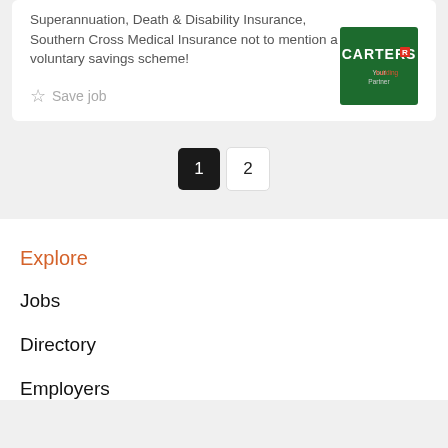Superannuation, Death & Disability Insurance, Southern Cross Medical Insurance not to mention a voluntary savings scheme!
Save job
[Figure (logo): Carters logo — green background with CARTERS text in white and red, tagline below]
1  2
Explore
Jobs
Directory
Employers